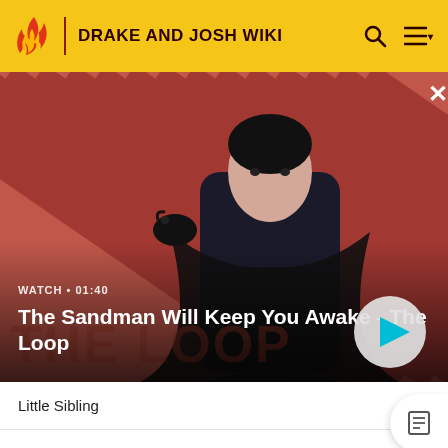DRAKE AND JOSH WIKI
[Figure (screenshot): Video banner for 'The Sandman Will Keep You Awake - The Loop' with WATCH • 01:40 label and play button on red striped background with dark figure]
WATCH • 01:40
The Sandman Will Keep You Awake - The Loop
Little Sibling
Season 3, Episode 13
[Figure (photo): Episode thumbnail showing people in an indoor scene]